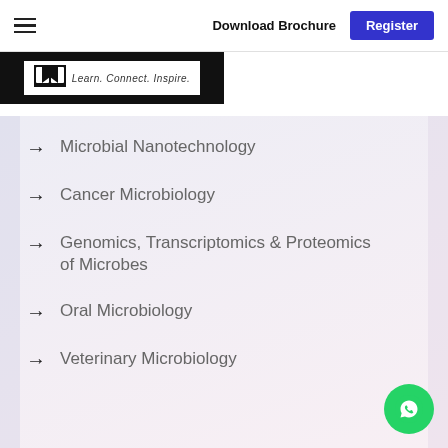Download Brochure  Register
[Figure (logo): Conference logo with book icon and tagline 'Learn. Connect. Inspire.']
Microbial Nanotechnology
Cancer Microbiology
Genomics, Transcriptomics & Proteomics of Microbes
Oral Microbiology
Veterinary Microbiology